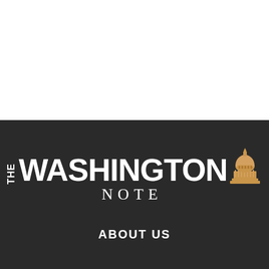[Figure (logo): The Washington Note logo with white text on dark background and a golden Capitol building illustration]
ABOUT US